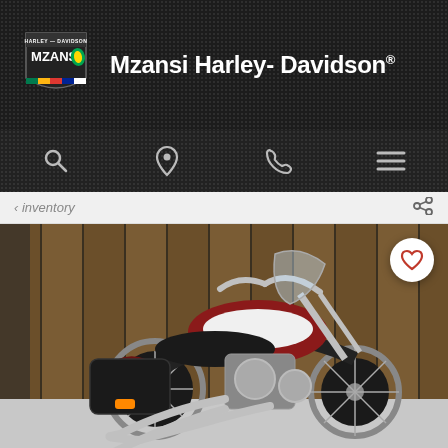Mzansi Harley-Davidson®
[Figure (screenshot): Mzansi Harley-Davidson dealership website header with logo and navigation icons (search, location, phone, menu)]
< Inventory
[Figure (photo): A Harley-Davidson Heritage Classic motorcycle in dark red/maroon and white two-tone color scheme, displayed in a showroom with wooden slatted wall background. Chrome engine, saddlebags, and wire-spoke wheels visible.]